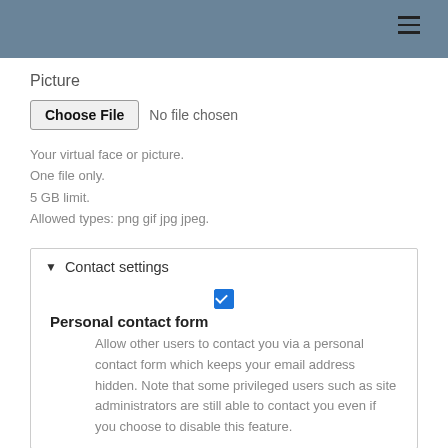≡
Picture
[Figure (screenshot): File input control showing 'Choose File' button and 'No file chosen' text]
Your virtual face or picture.
One file only.
5 GB limit.
Allowed types: png gif jpg jpeg.
▼ Contact settings
[Figure (screenshot): Blue checked checkbox]
Personal contact form
Allow other users to contact you via a personal contact form which keeps your email address hidden. Note that some privileged users such as site administrators are still able to contact you even if you choose to disable this feature.